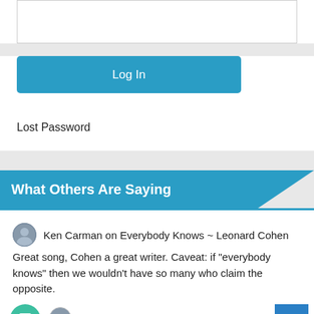[Figure (other): Input text box (password field)]
Log In
Lost Password
What Others Are Saying
Ken Carman on Everybody Knows ~ Leonard Cohen
Great song, Cohen a great writer. Caveat: if "everybody knows" then we wouldn't have so many who claim the opposite.